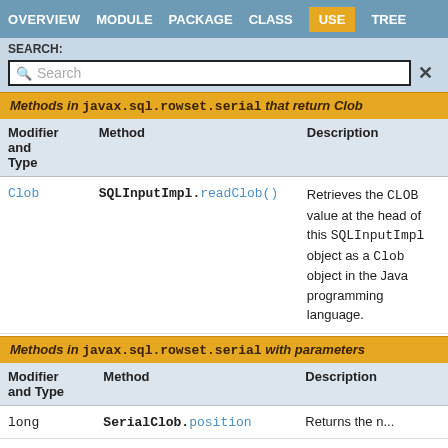OVERVIEW  MODULE  PACKAGE  CLASS  USE  TREE
SEARCH:
Methods in javax.sql.rowset.serial that return Clob
| Modifier and Type | Method | Description |
| --- | --- | --- |
| Clob | SQLInputImpl.readClob() | Retrieves the CLOB value at the head of this SQLInputImpl object as a Clob object in the Java programming language. |
Methods in javax.sql.rowset.serial with parameters
| Modifier and Type | Method | Description |
| --- | --- | --- |
| long | SerialClob.position | Returns the... |